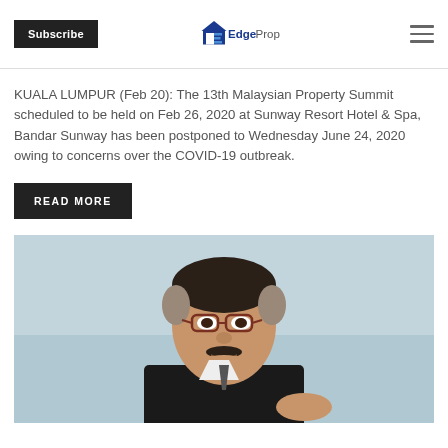Subscribe | EdgeProp
KUALA LUMPUR (Feb 20): The 13th Malaysian Property Summit scheduled to be held on Feb 26, 2020 at Sunway Resort Hotel & Spa, Bandar Sunway has been postponed to Wednesday June 24, 2020 owing to concerns over the COVID-19 outbreak.
READ MORE
[Figure (photo): Portrait photo of a man in a suit wearing glasses, light blue background]